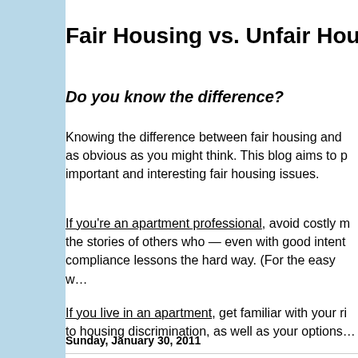Fair Housing vs. Unfair Housin…
Do you know the difference?
Knowing the difference between fair housing and unfair housing is not as obvious as you might think. This blog aims to provide coverage of important and interesting fair housing issues.
If you're an apartment professional, avoid costly mistakes by learning the stories of others who — even with good intentions — learned compliance lessons the hard way. (For the easy w…
If you live in an apartment, get familiar with your rights when it comes to housing discrimination, as well as your options…
Sunday, January 30, 2011